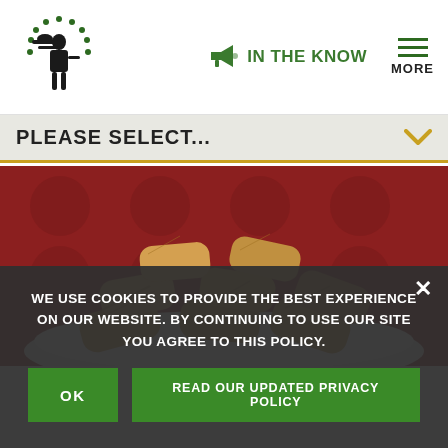[Figure (logo): Restaurant waiter logo with stars]
IN THE KNOW
MORE
PLEASE SELECT...
[Figure (photo): A plate of tamales stacked on a white plate with a red booth background]
WE USE COOKIES TO PROVIDE THE BEST EXPERIENCE ON OUR WEBSITE. BY CONTINUING TO USE OUR SITE YOU AGREE TO THIS POLICY.
OK
READ OUR UPDATED PRIVACY POLICY